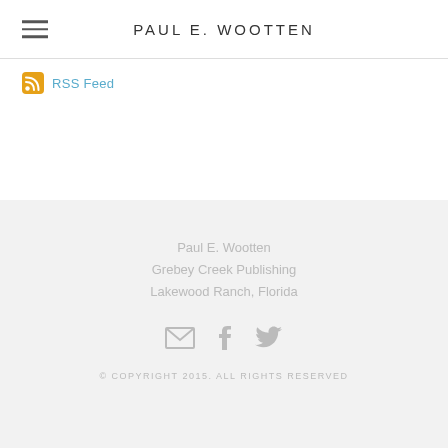PAUL E. WOOTTEN
RSS Feed
Paul E. Wootten
Grebey Creek Publishing
Lakewood Ranch, Florida
© COPYRIGHT 2015. ALL RIGHTS RESERVED